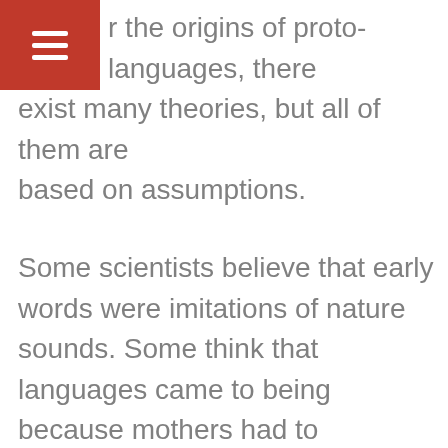As for the origins of proto-languages, there exist many theories, but all of them are based on assumptions.
Some scientists believe that early words were imitations of nature sounds. Some think that languages came to being because mothers had to communicate with their children.
There are theories that languages developed from gestures, as it was impossible to always use hands to